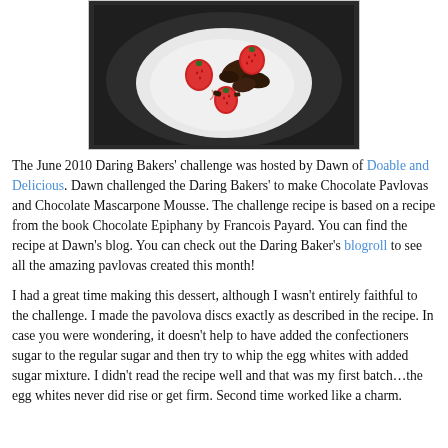[Figure (photo): A dark round plate/bowl containing a white cream or pavlova topped with fresh red strawberries and dark chocolate pieces, viewed from above.]
The June 2010 Daring Bakers' challenge was hosted by Dawn of Doable and Delicious. Dawn challenged the Daring Bakers' to make Chocolate Pavlovas and Chocolate Mascarpone Mousse. The challenge recipe is based on a recipe from the book Chocolate Epiphany by Francois Payard. You can find the recipe at Dawn's blog. You can check out the Daring Baker's blogroll to see all the amazing pavlovas created this month!
I had a great time making this dessert, although I wasn't entirely faithful to the challenge. I made the pavolova discs exactly as described in the recipe. In case you were wondering, it doesn't help to have added the confectioners sugar to the regular sugar and then try to whip the egg whites with added sugar mixture. I didn't read the recipe well and that was my first batch…the egg whites never did rise or get firm. Second time worked like a charm.